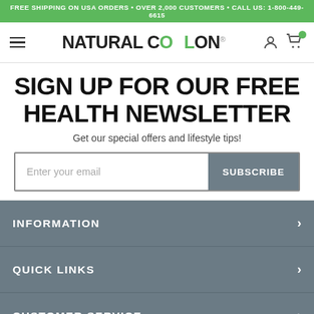FREE SHIPPING ON USA ORDERS • OVER 2,000 CUSTOMERS • CALL US: 1-800-449-6615
[Figure (logo): Natural Colon logo with green leaf on the O, hamburger menu icon on left, user and cart icons on right]
SIGN UP FOR OUR FREE HEALTH NEWSLETTER
Get our special offers and lifestyle tips!
[Figure (screenshot): Email input field with placeholder 'Enter your email' and a grey SUBSCRIBE button]
INFORMATION
QUICK LINKS
CUSTOMER SERVICE